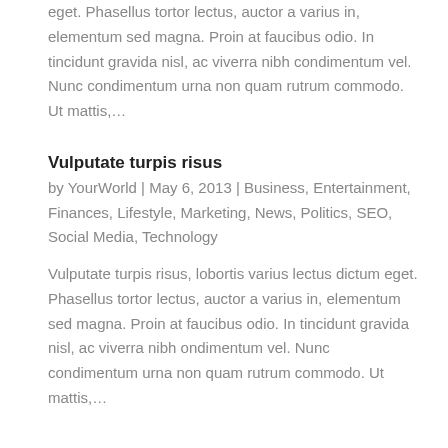eget. Phasellus tortor lectus, auctor a varius in, elementum sed magna. Proin at faucibus odio. In tincidunt gravida nisl, ac viverra nibh condimentum vel. Nunc condimentum urna non quam rutrum commodo. Ut mattis,...
Vulputate turpis risus
by YourWorld | May 6, 2013 | Business, Entertainment, Finances, Lifestyle, Marketing, News, Politics, SEO, Social Media, Technology
Vulputate turpis risus, lobortis varius lectus dictum eget. Phasellus tortor lectus, auctor a varius in, elementum sed magna. Proin at faucibus odio. In tincidunt gravida nisl, ac viverra nibh ondimentum vel. Nunc condimentum urna non quam rutrum commodo. Ut mattis,...